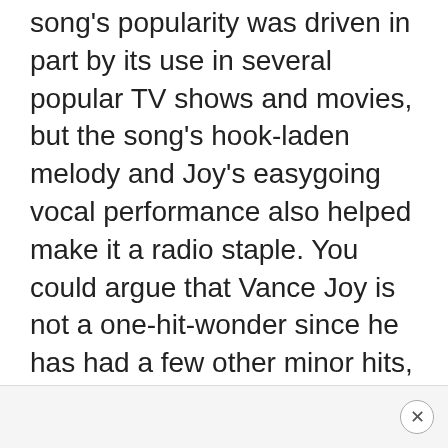song's popularity was driven in part by its use in several popular TV shows and movies, but the song's hook-laden melody and Joy's easygoing vocal performance also helped make it a radio staple. You could argue that Vance Joy is not a one-hit-wonder since he has had a few other minor hits, but 'Riptide' remains his most well-known song by far.